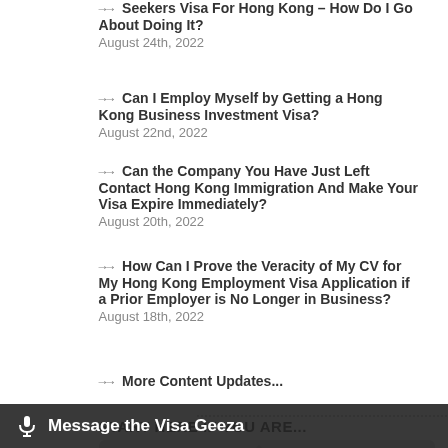Seekers Visa For Hong Kong – How Do I Go About Doing It?
August 24th, 2022
Can I Employ Myself by Getting a Hong Kong Business Investment Visa?
August 22nd, 2022
Can the Company You Have Just Left Contact Hong Kong Immigration And Make Your Visa Expire Immediately?
August 20th, 2022
How Can I Prove the Veracity of My CV for My Hong Kong Employment Visa Application if a Prior Employer is No Longer in Business?
August 18th, 2022
More Content Updates...
START HERE IF YOU ARE...
[Figure (illustration): An Employee button banner with decorative background image]
Message the Visa Geeza